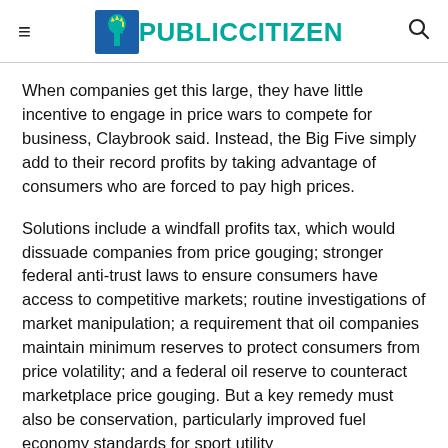PUBLIC CITIZEN
When companies get this large, they have little incentive to engage in price wars to compete for business, Claybrook said. Instead, the Big Five simply add to their record profits by taking advantage of consumers who are forced to pay high prices.
Solutions include a windfall profits tax, which would dissuade companies from price gouging; stronger federal anti-trust laws to ensure consumers have access to competitive markets; routine investigations of market manipulation; a requirement that oil companies maintain minimum reserves to protect consumers from price volatility; and a federal oil reserve to counteract marketplace price gouging. But a key remedy must also be conservation, particularly improved fuel economy standards for sport utility